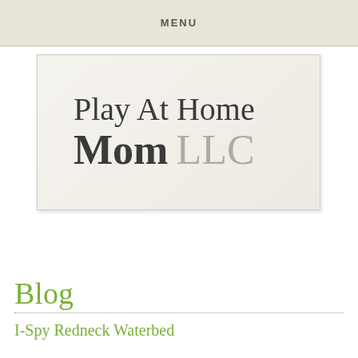MENU
[Figure (logo): Play At Home Mom LLC logo on a light beige background with serif typeface. 'Play At Home' on first line and 'Mom' in bold dark gray with 'LLC' in light gray on second line.]
Blog
I-Spy Redneck Waterbed